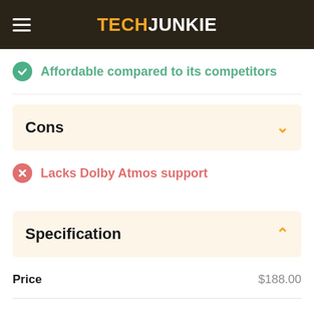TECHJUNKIE
Affordable compared to its competitors
Cons
Lacks Dolby Atmos support
Specification
|  |  |
| --- | --- |
| Price | $188.00 |